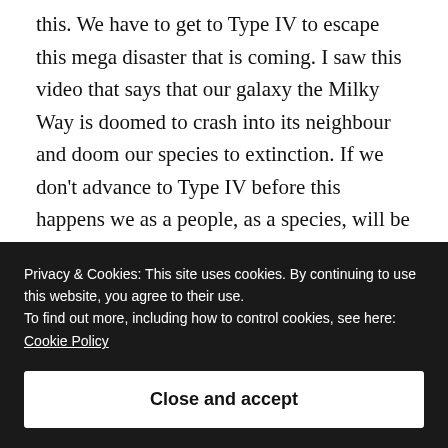this. We have to get to Type IV to escape this mega disaster that is coming. I saw this video that says that our galaxy the Milky Way is doomed to crash into its neighbour and doom our species to extinction. If we don't advance to Type IV before this happens we as a people, as a species, will be doomed. So I think our governments better listen and put aside cost and other problems and try to accomplish this. If we could also listen to scientists about global warming we could further enhance our chances of survival. And we could
Privacy & Cookies: This site uses cookies. By continuing to use this website, you agree to their use.
To find out more, including how to control cookies, see here:
Cookie Policy
Close and accept